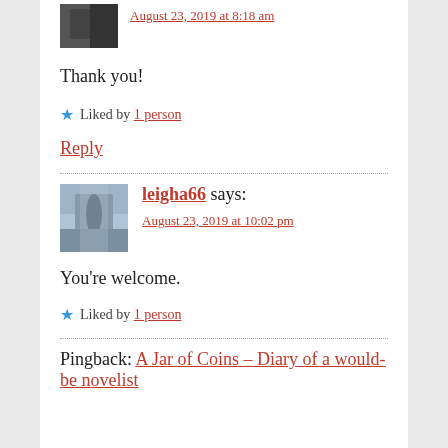[Figure (photo): Small avatar image, partially visible at top]
August 23, 2019 at 8:18 am
Thank you!
Liked by 1 person
Reply
[Figure (photo): Avatar image of leigha66 showing a person on a dock in winter/foggy scene]
leigha66 says:
August 23, 2019 at 10:02 pm
You're welcome.
Liked by 1 person
Pingback: A Jar of Coins – Diary of a would-be novelist